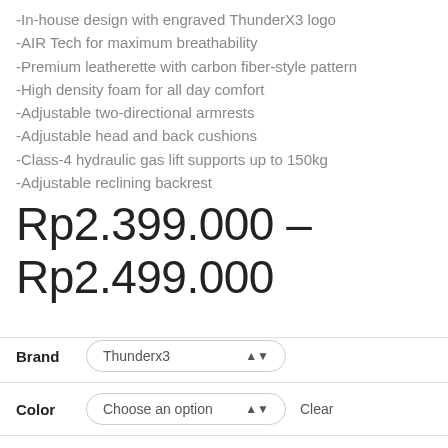-In-house design with engraved ThunderX3 logo
-AIR Tech for maximum breathability
-Premium leatherette with carbon fiber-style pattern
-High density foam for all day comfort
-Adjustable two-directional armrests
-Adjustable head and back cushions
-Class-4 hydraulic gas lift supports up to 150kg
-Adjustable reclining backrest
Rp2.399.000 – Rp2.499.000
| Field | Value |
| --- | --- |
| Brand | Thunderx3 |
| Color | Choose an option |